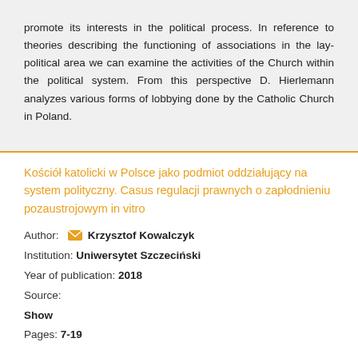promote its interests in the political process. In reference to theories describing the functioning of associations in the lay-political area we can examine the activities of the Church within the political system. From this perspective D. Hierlemann analyzes various forms of lobbying done by the Catholic Church in Poland.
Kościół katolicki w Polsce jako podmiot oddziałujący na system polityczny. Casus regulacji prawnych o zapłodnieniu pozaustrojowym in vitro
Author: Krzysztof Kowalczyk
Institution: Uniwersytet Szczeciński
Year of publication: 2018
Source:
Show
Pages: 7-19